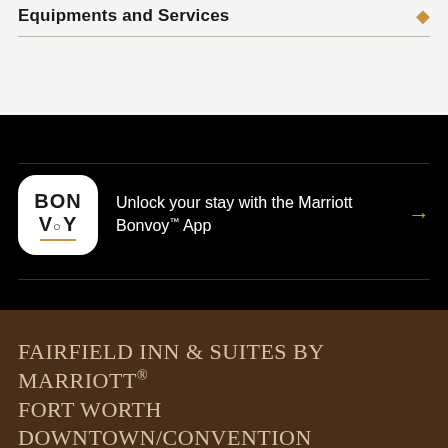Equipments and Services
Unlock your stay with the Marriott Bonvoy™ App
FAIRFIELD INN & SUITES BY MARRIOTT® FORT WORTH DOWNTOWN/CONVENTION CENTER
RESERVE